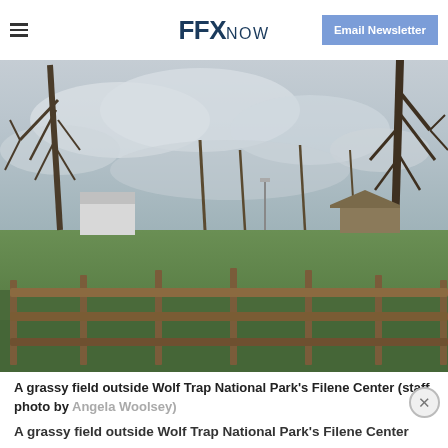FFX NOW | Email Newsletter
[Figure (photo): A grassy field outside Wolf Trap National Park's Filene Center. Bare leafless trees are visible against an overcast sky, with a wooden split-rail fence in the foreground and green grass. Buildings are visible in the background.]
A grassy field outside Wolf Trap National Park's Filene Center (staff photo by Angela Woolsey)
A grassy field outside Wolf Trap National Park's Filene Center